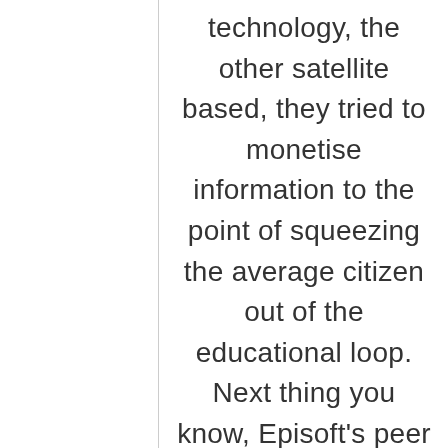technology, the other satellite based, they tried to monetise information to the point of squeezing the average citizen out of the educational loop. Next thing you know, Episoft's peer to peer system gives free